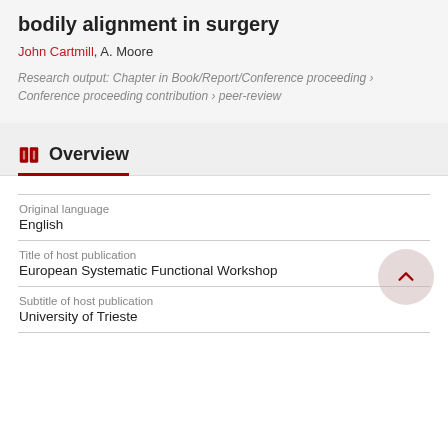bodily alignment in surgery
John Cartmill, A. Moore
Research output: Chapter in Book/Report/Conference proceeding › Conference proceeding contribution › peer-review
Overview
| Category | Value |
| --- | --- |
| Original language | English |
| Title of host publication | European Systematic Functional Workshop |
| Subtitle of host publication | University of Trieste |